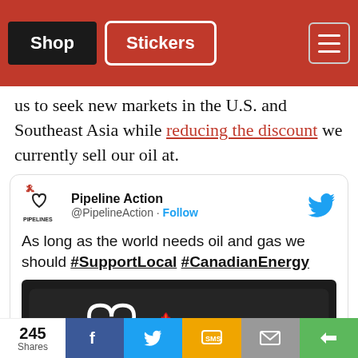Shop | Stickers | Menu
us to seek new markets in the U.S. and Southeast Asia while reducing the discount we currently sell our oil at.
[Figure (screenshot): Embedded tweet from @PipelineAction reading: 'As long as the world needs oil and gas we should #SupportLocal #CanadianEnergy', with a photo of a truck rear window sticker reading 'I ♥ [maple leaf] OIL & GAS']
245 Shares | Facebook | Twitter | SMS | Email | Share